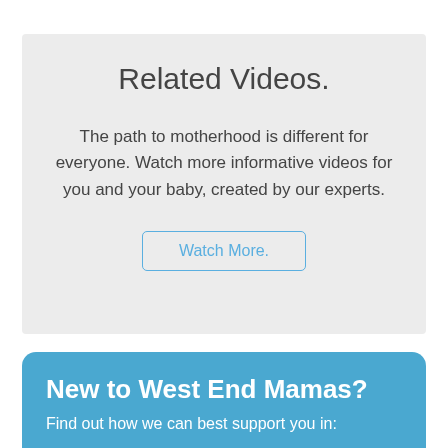Related Videos.
The path to motherhood is different for everyone. Watch more informative videos for you and your baby, created by our experts.
Watch More.
New to West End Mamas?
Find out how we can best support you in: